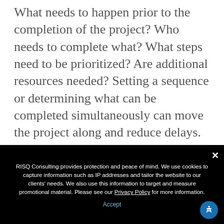What needs to happen prior to the completion of the project? Who needs to complete what? What steps need to be prioritized? Are additional resources needed? Setting a sequence or determining what can be completed simultaneously can move the project along and reduce delays. It is also a good idea to establish due dates and/or expected timelines to complete starting with the goal of when you would like or need the project
RISQ Consulting provides protection and peace of mind. We use cookies to capture information such as IP addresses and tailor the website to our clients' needs. We also use this information to target and measure promotional material. Please see our Privacy Policy for more information.
Accept